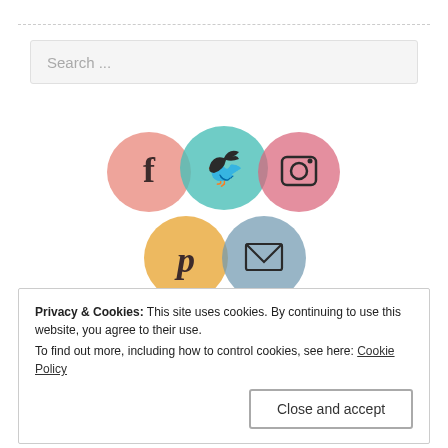Search ...
[Figure (illustration): Five watercolor circle social media icons: Facebook (pink), Twitter (teal), Instagram (pink/red), Pinterest (orange/yellow), Email/envelope (blue-gray), arranged in two rows]
Privacy & Cookies: This site uses cookies. By continuing to use this website, you agree to their use.
To find out more, including how to control cookies, see here: Cookie Policy
Close and accept